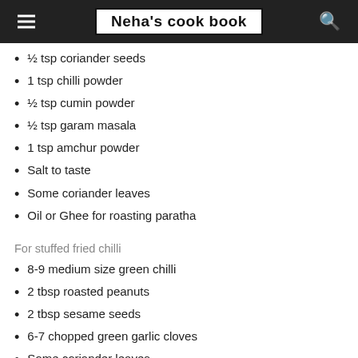Neha's cook book
½ tsp coriander seeds
1 tsp chilli powder
½ tsp cumin powder
½ tsp garam masala
1 tsp amchur powder
Salt to taste
Some coriander leaves
Oil or Ghee for roasting paratha
For stuffed fried chilli
8-9 medium size green chilli
2 tbsp roasted peanuts
2 tbsp sesame seeds
6-7 chopped green garlic cloves
Some coriander leaves
Salt to taste
¼ tsp turmeric powder
2 tbsp oil for frying